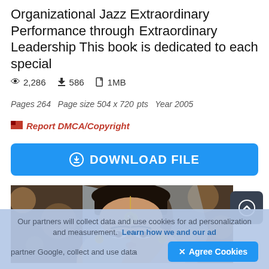Organizational Jazz Extraordinary Performance through Extraordinary Leadership This book is dedicated to each special
👁 2,286   ⬇ 586   🗋 1MB
Pages 264   Page size 504 x 720 pts   Year 2005
🚩 Report DMCA/Copyright
⬇ DOWNLOAD FILE
[Figure (photo): Portrait photo of a woman in traditional Indian bridal attire with ornate jewelry and headpiece (maang tikka), bokeh background]
Our partners will collect data and use cookies for ad personalization and measurement. Learn how we and our ad partner Google, collect and use data
✕ Agree Cookies